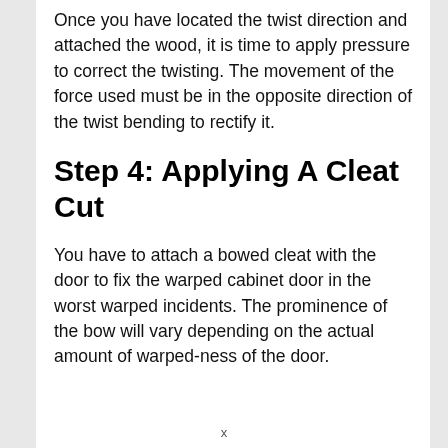Once you have located the twist direction and attached the wood, it is time to apply pressure to correct the twisting. The movement of the force used must be in the opposite direction of the twist bending to rectify it.
Step 4: Applying A Cleat Cut
You have to attach a bowed cleat with the door to fix the warped cabinet door in the worst warped incidents. The prominence of the bow will vary depending on the actual amount of warped-ness of the door.
x